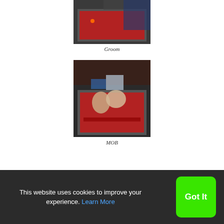[Figure (photo): Photo of a red pool/billiards table with people around it, viewed from above at an angle.]
Groom
[Figure (photo): Photo of people leaning over a red pool/billiards table, playing pool in a bar setting.]
MOB
This website uses cookies to improve your experience. Learn More
Got It